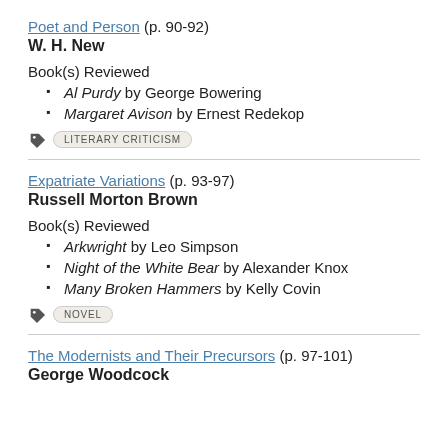Poet and Person (p. 90-92)
W. H. New
Book(s) Reviewed
Al Purdy by George Bowering
Margaret Avison by Ernest Redekop
LITERARY CRITICISM
Expatriate Variations (p. 93-97)
Russell Morton Brown
Book(s) Reviewed
Arkwright by Leo Simpson
Night of the White Bear by Alexander Knox
Many Broken Hammers by Kelly Covin
NOVEL
The Modernists and Their Precursors (p. 97-101)
George Woodcock